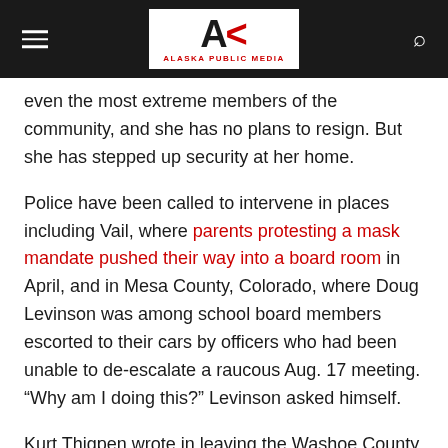Alaska Public Media
even the most extreme members of the community, and she has no plans to resign. But she has stepped up security at her home.
Police have been called to intervene in places including Vail, where parents protesting a mask mandate pushed their way into a board room in April, and in Mesa County, Colorado, where Doug Levinson was among school board members escorted to their cars by officers who had been unable to de-escalate a raucous Aug. 17 meeting. “Why am I doing this?” Levinson asked himself.
Kurt Thigpen wrote in leaving the Washoe County, Nevada, school board that he considered suicide amid relentless bullying and threats led by people who didn’t live in the